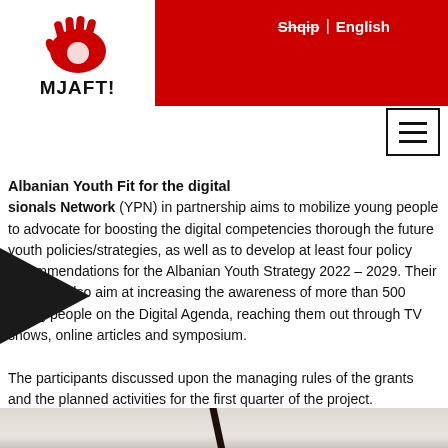Shqip | English
[Figure (logo): MJAFT! logo with red handprint and bold black text MJAFT!]
Albanian Youth Fit for the digital sionals Network (YPN) in partnership aims to mobilize young people to advocate for boosting the digital competencies thorough the future youth policies/strategies, as well as to develop at least four policy recommendations for the Albanian Youth Strategy 2022 – 2029. Their activities also aim at increasing the awareness of more than 500 young people on the Digital Agenda, reaching them out through TV shows, online articles and symposium.
The participants discussed upon the managing rules of the grants and the planned activities for the first quarter of the project.
[Figure (photo): Close-up photo of paper/notebook with a dark pen or pencil diagonal across it]